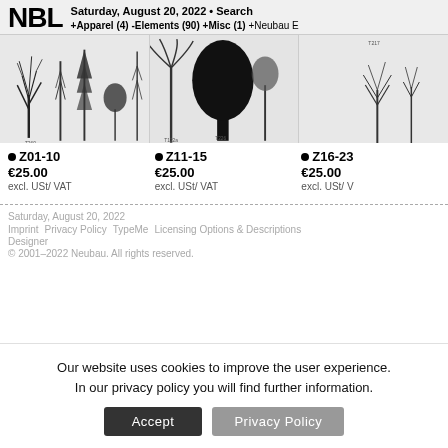NBL | Saturday, August 20, 2022 • Search +Apparel (4) -Elements (90) +Misc (1) +Neubau E
[Figure (illustration): Three panels of black and white botanical tree illustrations showing various species at different scales with labels]
●Z01-10
€25.00
excl. USt/VAT
●Z11-15
€25.00
excl. USt/VAT
●Z16-23
€25.00
excl. USt/V
Saturday, August 20, 2022
Imprint   Privacy Policy   TypeMe   Licensing Options & Descriptions
Designer
© 2001–2022 Neubau. All rights reserved.
Our website uses cookies to improve the user experience.
In our privacy policy you will find further information.
Accept   Privacy Policy